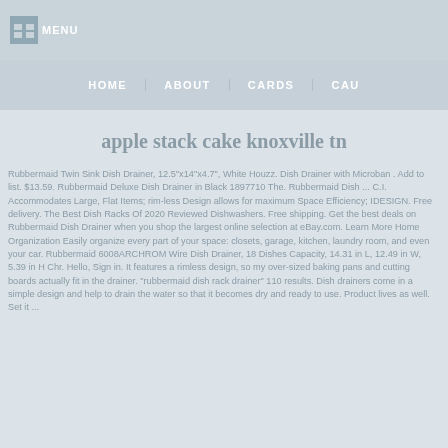MENU
HOME   ABOUT   CARDS   CAU
apple stack cake knoxville tn
Rubbermaid Twin Sink Dish Drainer, 12.5"x14"x4.7", White Houzz. Dish Drainer with Microban . Add to list. $13.59. Rubbermaid Deluxe Dish Drainer in Black 1897710 The. Rubbermaid Dish ... C.I. Accommodates Large, Flat Items; rim-less Design allows for maximum Space Efficiency; IDESIGN. Free delivery. The Best Dish Racks Of 2020 Reviewed Dishwashers. Free shipping. Get the best deals on Rubbermaid Dish Drainer when you shop the largest online selection at eBay.com. Learn More Home Organization Easily organize every part of your space: closets, garage, kitchen, laundry room, and even your car. Rubbermaid 6008ARCHROM Wire Dish Drainer, 18 Dishes Capacity, 14.31 in L, 12.49 in W, 5.39 in H Chr. Hello, Sign in. It features a rimless design, so my over-sized baking pans and cutting boards actually fit in the drainer. "rubbermaid dish rack drainer" 110 results. Dish drainers come in a simple design and help to drain the water so that it becomes dry and ready to use. Product lives as well. Set it ...